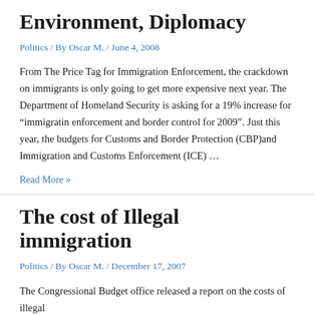Environment, Diplomacy
Politics / By Oscar M. / June 4, 2008
From The Price Tag for Immigration Enforcement, the crackdown on immigrants is only going to get more expensive next year. The Department of Homeland Security is asking for a 19% increase for “immigratin enforcement and border control for 2009”. Just this year, the budgets for Customs and Border Protection (CBP)and Immigration and Customs Enforcement (ICE) …
Read More »
The cost of Illegal immigration
Politics / By Oscar M. / December 17, 2007
The Congressional Budget office released a report on the costs of illegal